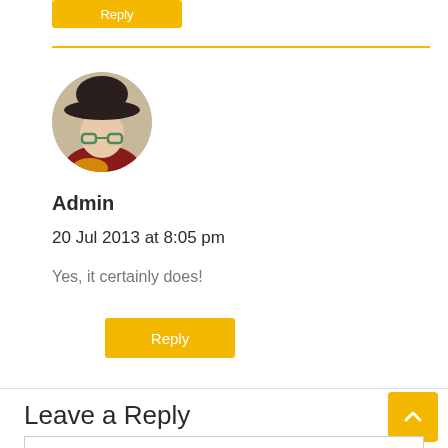[Figure (other): Reply button (partially visible at top)]
[Figure (photo): Circular avatar photo of a person wearing a dark wide-brim hat and glasses]
Admin
20 Jul 2013 at 8:05 pm
Yes, it certainly does!
[Figure (other): Reply button (yellow/gold background, white text)]
Leave a Reply
[Figure (other): Scroll-to-top button (yellow/gold square with upward chevron)]